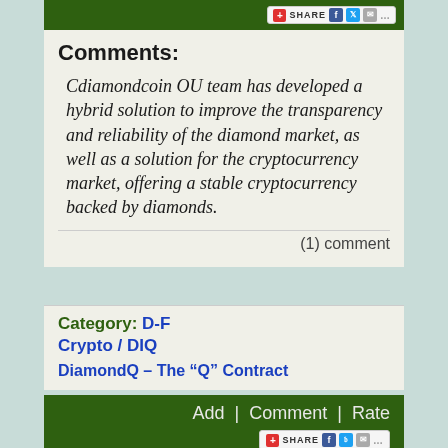SHARE
Comments:
Cdiamondcoin OU team has developed a hybrid solution to improve the transparency and reliability of the diamond market, as well as a solution for the cryptocurrency market, offering a stable cryptocurrency backed by diamonds.
(1) comment
Category: D-F
Crypto / DIQ
DiamondQ – The “Q” Contract
Add | Comment | Rate
Comments: